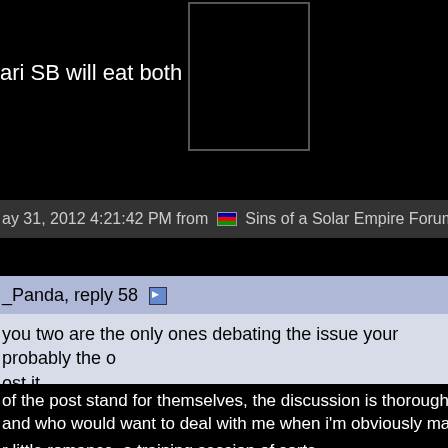ari SB will eat both of u
[Figure (photo): Dark avatar image box, mostly black]
ay 31, 2012 4:21:42 PM from Sins of a Solar Empire Forums
_Panda, reply 58
you two are the only ones debating the issue your probably the o... ost it.
of the post stand for themselves, the discussion is thorough, m... and who would want to deal with me when i'm obviously making...
r little romance, a training session of sorts.